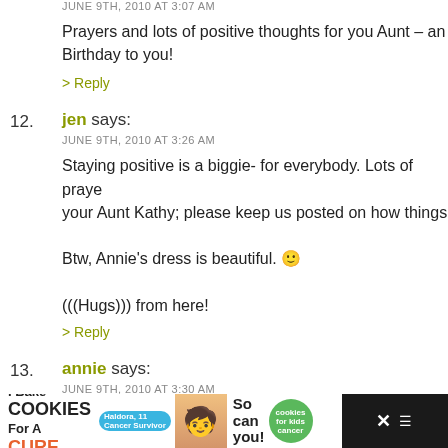JUNE 9TH, 2010 AT 3:07 AM
Prayers and lots of positive thoughts for you Aunt – an Birthday to you!
> Reply
12. jen says: JUNE 9TH, 2010 AT 3:26 AM
Staying positive is a biggie- for everybody. Lots of praye your Aunt Kathy; please keep us posted on how things
Btw, Annie's dress is beautiful. :)
(((Hugs))) from here!
> Reply
13. annie says: JUNE 9TH, 2010 AT 3:30 AM
Praying for your family...you've all been through so mu
> Reply
[Figure (infographic): Advertisement banner: I Bake COOKIES For A CURE with Haldora, 11 Cancer Survivor. So can you! cookies for kids cancer logo. Dark background with close and menu icons.]